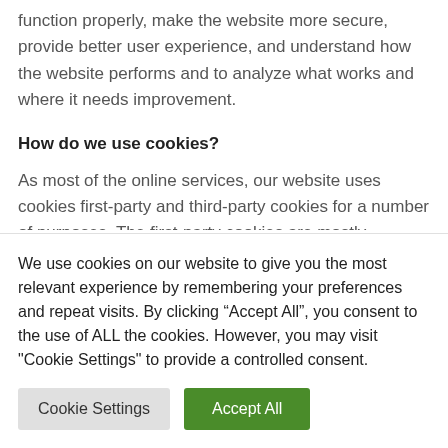function properly, make the website more secure, provide better user experience, and understand how the website performs and to analyze what works and where it needs improvement.
How do we use cookies?
As most of the online services, our website uses cookies first-party and third-party cookies for a number of purposes. The first-party cookies are mostly necessary for the website to function the right way, and they do not collect any of your
We use cookies on our website to give you the most relevant experience by remembering your preferences and repeat visits. By clicking “Accept All”, you consent to the use of ALL the cookies. However, you may visit "Cookie Settings" to provide a controlled consent.